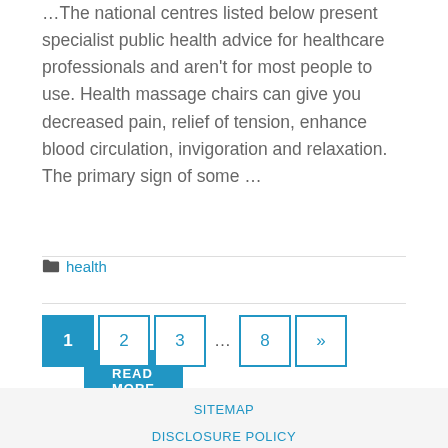The national centres listed below present specialist public health advice for healthcare professionals and aren't for most people to use. Health massage chairs can give you decreased pain, relief of tension, enhance blood circulation, invigoration and relaxation. The primary sign of some …
READ MORE
health
1 2 3 … 8 »
SITEMAP
DISCLOSURE POLICY
ADVERTISE HERE
CONTACT US